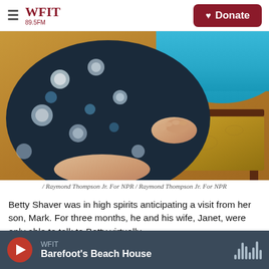WFIT 89.5FM | Donate
[Figure (photo): Close-up photo of an elderly woman sitting on a wooden chair with a gold cushion, wearing a floral dress (dark blue/black with white and blue flower pattern) and a teal/turquoise cardigan, with her hands resting on the cushion.]
/ Raymond Thompson Jr. For NPR / Raymond Thompson Jr. For NPR
Betty Shaver was in high spirits anticipating a visit from her son, Mark. For three months, he and his wife, Janet, were only able to talk to Betty virtually.
WFIT | Barefoot's Beach House